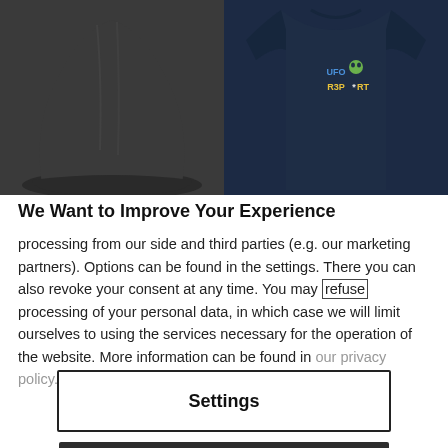[Figure (photo): Two product images side by side: left shows a dark gray beanie hat, right shows a navy blue long-sleeve shirt with UFO R3P*RT logo and alien graphic]
We Want to Improve Your Experience
processing from our side and third parties (e.g. our marketing partners). Options can be found in the settings. There you can also revoke your consent at any time. You may refuse processing of your personal data, in which case we will limit ourselves to using the services necessary for the operation of the website. More information can be found in our privacy policy. Legal information
Settings
Agree